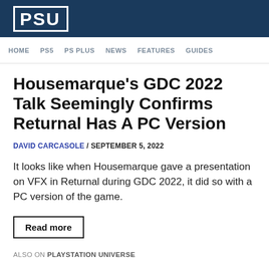PSU
HOME   PS5   PS PLUS   NEWS   FEATURES   GUIDES
Housemarque's GDC 2022 Talk Seemingly Confirms Returnal Has A PC Version
DAVID CARCASOLE / SEPTEMBER 5, 2022
It looks like when Housemarque gave a presentation on VFX in Returnal during GDC 2022, it did so with a PC version of the game.
Read more
ALSO ON PLAYSTATION UNIVERSE